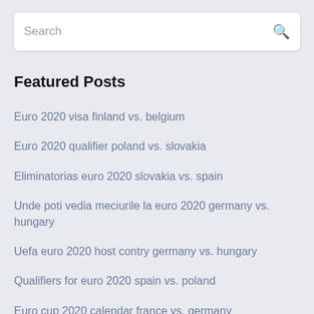[Figure (screenshot): Search bar input field with placeholder text 'Search' and a search icon on the right]
Featured Posts
Euro 2020 visa finland vs. belgium
Euro 2020 qualifier poland vs. slovakia
Eliminatorias euro 2020 slovakia vs. spain
Unde poti vedia meciurile la euro 2020 germany vs. hungary
Uefa euro 2020 host contry germany vs. hungary
Qualifiers for euro 2020 spain vs. poland
Euro cup 2020 calendar france vs. germany